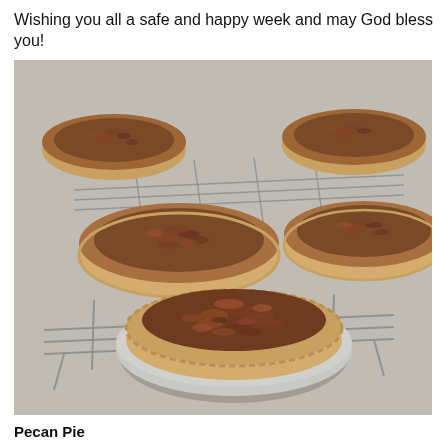Wishing you all a safe and happy week and may God bless you!
[Figure (photo): Multiple pecan pies in aluminum foil tins arranged on wire cooling racks on a gray table. The pies have golden crimped pastry crusts filled with a textured brown pecan topping. Several pies are visible in the background and foreground.]
Pecan Pie